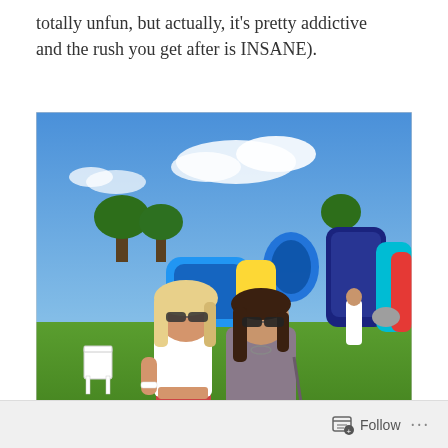totally unfun, but actually, it's pretty addictive and the rush you get after is INSANE).
[Figure (photo): Two young women posing outdoors at a festival/fair with colorful inflatable bounce houses in the background on a sunny day. One woman has blonde hair and wears a white tube top; the other has dark hair and wears a grey dress. Both wear sunglasses.]
Veronica and I in our post-Insanity Hay Day.